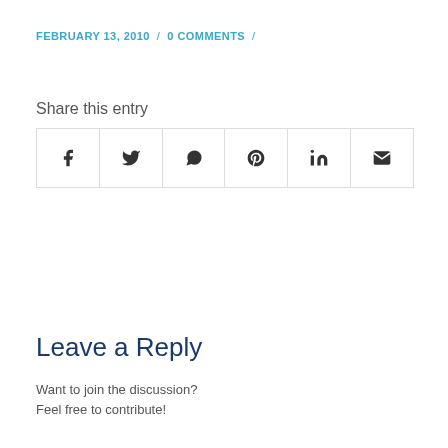FEBRUARY 13, 2010 / 0 COMMENTS /
Share this entry
[Figure (other): Social share buttons grid: Facebook, Twitter, WhatsApp, Pinterest, LinkedIn, Email icons in a bordered row]
[Figure (other): Red circle with '0' in the center, with a horizontal line through it, and 'REPLIES' text below]
Leave a Reply
Want to join the discussion?
Feel free to contribute!